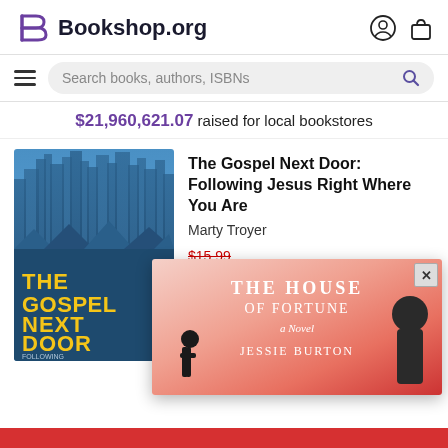[Figure (logo): Bookshop.org logo with stylized B icon and site name]
Search books, authors, ISBNs
$21,960,621.07 raised for local bookstores
[Figure (photo): Book cover of 'The Gospel Next Door: Following Jesus Right Where You Are' by Marty Troyer — blue cityscape background with yellow title text]
The Gospel Next Door: Following Jesus Right Where You Are
Marty Troyer
$15.99
$14.87
[Figure (photo): Popup banner showing book cover of 'The House of Fortune: A Novel' by Jessie Burton — pink/orange gradient background with silhouette figures and grim reaper]